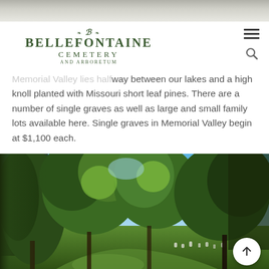[Figure (photo): Faint landscape / sky banner image strip at top of page]
[Figure (logo): Bellefontaine Cemetery and Arboretum logo with decorative flourishes and stylized B emblem]
Memorial Valley lies halfway between our lakes and a high knoll planted with Missouri short leaf pines. There are a number of single graves as well as large and small family lots available here. Single graves in Memorial Valley begin at $1,100 each.
[Figure (photo): Outdoor cemetery landscape photograph showing large mature trees with green foliage, grass paths, scattered grave markers visible in sunlit background, and blue sky visible through tree canopy. Back-to-top arrow button overlaid at bottom right.]